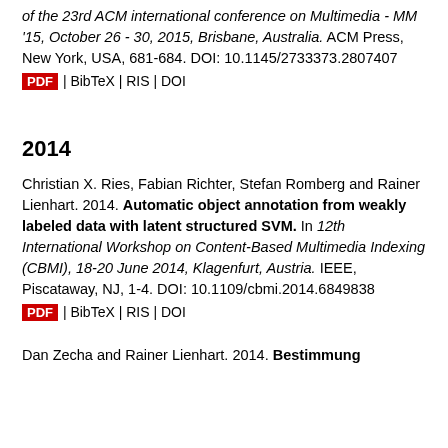of the 23rd ACM international conference on Multimedia - MM '15, October 26 - 30, 2015, Brisbane, Australia. ACM Press, New York, USA, 681-684. DOI: 10.1145/2733373.2807407
PDF | BibTeX | RIS | DOI
2014
Christian X. Ries, Fabian Richter, Stefan Romberg and Rainer Lienhart. 2014. Automatic object annotation from weakly labeled data with latent structured SVM. In 12th International Workshop on Content-Based Multimedia Indexing (CBMI), 18-20 June 2014, Klagenfurt, Austria. IEEE, Piscataway, NJ, 1-4. DOI: 10.1109/cbmi.2014.6849838
PDF | BibTeX | RIS | DOI
Dan Zecha and Rainer Lienhart. 2014. Bestimmung ...